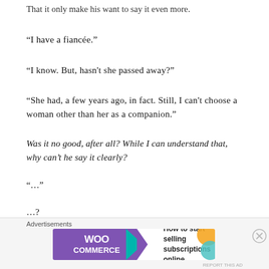That it only make his want to say it even more.
“I have a fiancée.”
“I know. But, hasn't she passed away?”
“She had, a few years ago, in fact. Still, I can't choose a woman other than her as a companion.”
Was it no good, after all? While I can understand that, why can’t he say it clearly?
“…”
…?
[Figure (infographic): WooCommerce advertisement banner: How to start selling subscriptions online]